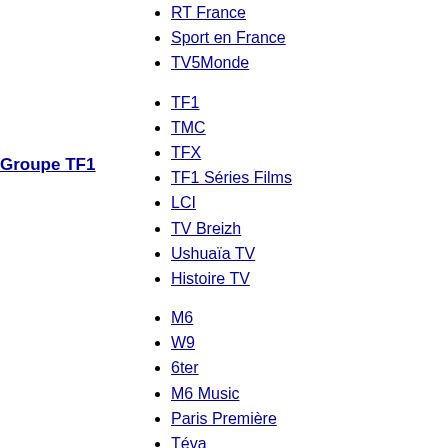RT France
Sport en France
TV5Monde
Groupe TF1
TF1
TMC
TFX
TF1 Séries Films
LCI
TV Breizh
Ushuaïa TV
Histoire TV
Groupe M6
M6
W9
6ter
M6 Music
Paris Première
Téva
Série Club
Gulli
Canal J
Tiji
MCM
MCM Top